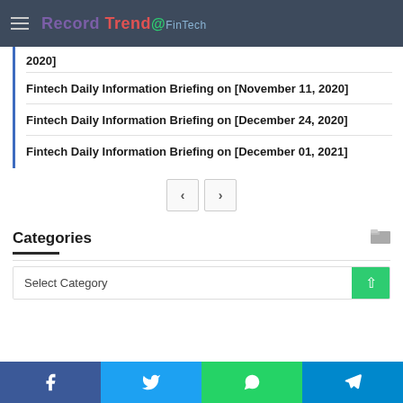Record Trend @ FinTech
Fintech Daily Information Briefing on [November 11, 2020]
Fintech Daily Information Briefing on [December 24, 2020]
Fintech Daily Information Briefing on [December 01, 2021]
Categories
Select Category